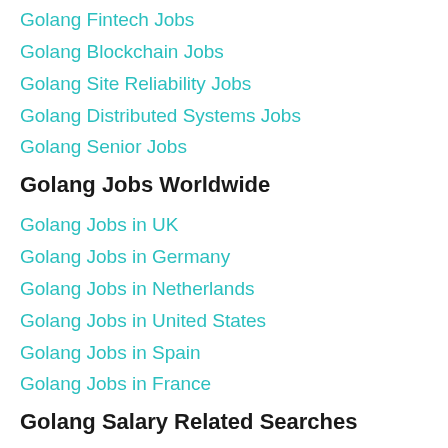Golang Fintech Jobs
Golang Blockchain Jobs
Golang Site Reliability Jobs
Golang Distributed Systems Jobs
Golang Senior Jobs
Golang Jobs Worldwide
Golang Jobs in UK
Golang Jobs in Germany
Golang Jobs in Netherlands
Golang Jobs in United States
Golang Jobs in Spain
Golang Jobs in France
Golang Salary Related Searches